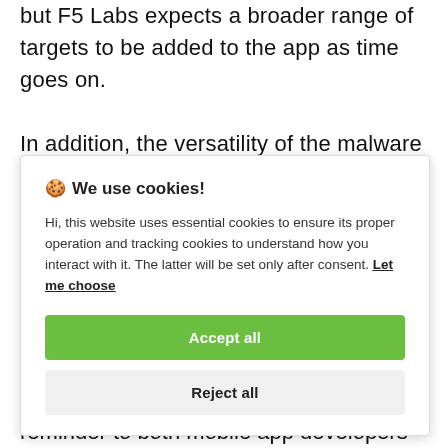but F5 Labs expects a broader range of targets to be added to the app as time goes on.
In addition, the versatility of the malware and the control it gives attackers over
🍪 We use cookies!
Hi, this website uses essential cookies to ensure its proper operation and tracking cookies to understand how you interact with it. The latter will be set only after consent. Let me choose
Accept all
Reject all
reminder to both mobile app developers